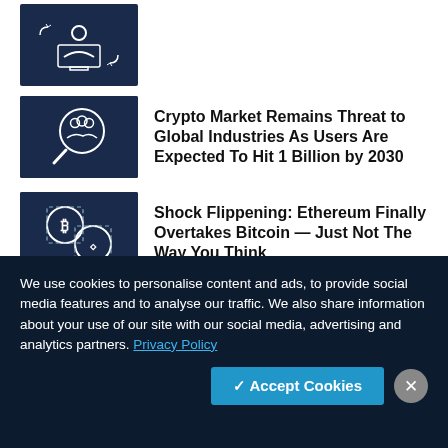[Figure (illustration): Dark blue icon showing a person at a computer screen with arrows, representing Bitcoin trading]
[Figure (illustration): Dark blue icon showing three people figures inside a magnifying glass, representing crypto market users]
Crypto Market Remains Threat to Global Industries As Users Are Expected To Hit 1 Billion by 2030
[Figure (illustration): Dark blue icon showing Bitcoin and Ethereum coin symbols with dashed borders, representing crypto flippening]
Shock Flippening: Ethereum Finally Overtakes Bitcoin – Just Not The Way You Think
We use cookies to personalise content and ads, to provide social media features and to analyse our traffic. We also share information about your use of our site with our social media, advertising and analytics partners. Privacy Policy
✓ Accept Cookies